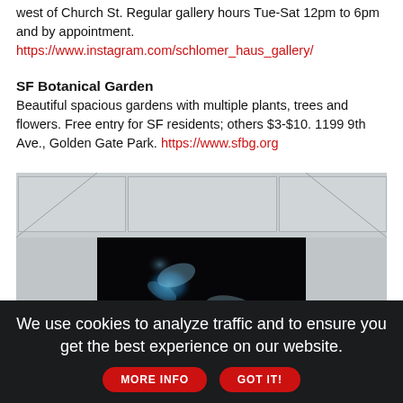west of Church St. Regular gallery hours Tue-Sat 12pm to 6pm and by appointment.
https://www.instagram.com/schlomer_haus_gallery/
SF Botanical Garden
Beautiful spacious gardens with multiple plants, trees and flowers. Free entry for SF residents; others $3-$10. 1199 9th Ave., Golden Gate Park. https://www.sfbg.org
[Figure (photo): Gallery interior showing a large dark screen/monitor on a white wall displaying a blue smoke or fluid art image, with a white ceiling with recessed panels above.]
We use cookies to analyze traffic and to ensure you get the best experience on our website. MORE INFO  GOT IT!